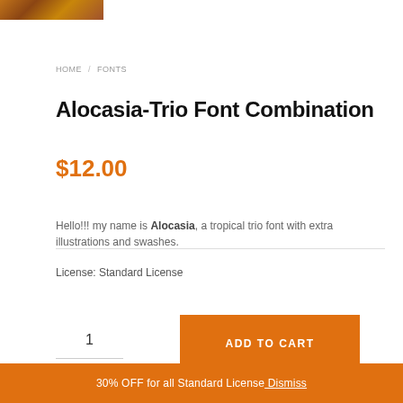[Figure (photo): Top partial image of tropical/nature scene in orange-brown tones]
HOME / FONTS
Alocasia-Trio Font Combination
$12.00
Hello!!! my name is Alocasia, a tropical trio font with extra illustrations and swashes.
License: Standard License
1
ADD TO CART
30% OFF for all Standard License Dismiss